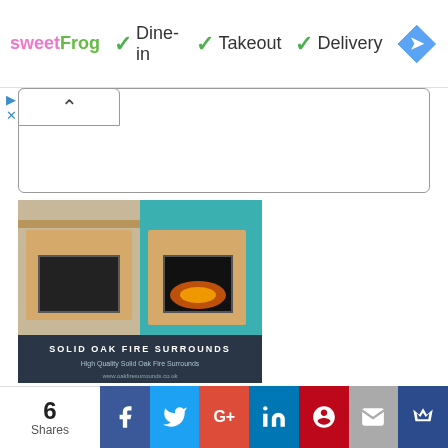[Figure (screenshot): Top advertisement bar with sweetFrog logo, dine-in/takeout/delivery options with checkmarks, and a blue navigation diamond icon]
[Figure (screenshot): Collapsed search/filter panel with chevron up button]
[Figure (photo): Advertisement image for Solid Oak Fire Surrounds showing two fireplace surrounds in oak finish with teal/turquoise wall background. Text: SOLID OAK FIRE SURROUNDS, High Quality Solid Oak Fire Surrounds, www.oakfiresurrounds.co.uk]
[Figure (photo): Advertisement image showing a cream/white modern electric fireplace surround in a living room setting]
[Figure (screenshot): Social share bar showing 6 Shares with Facebook, Twitter, Google+, LinkedIn, Pinterest, email, and crown icon buttons]